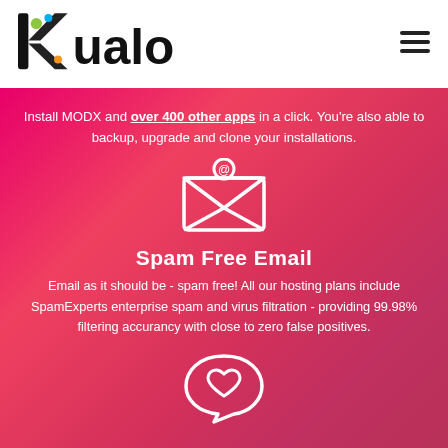[Figure (logo): Kualo logo — black wordmark with colorful K letter]
[Figure (other): Hamburger menu icon (three horizontal lines)]
Install MODX and over 400 other apps in a click. You're also able to backup, upgrade and clone your installations.
[Figure (illustration): White envelope icon with @ symbol representing email]
Spam Free Email
Email as it should be - spam free! All our hosting plans include SpamExperts enterprise spam and virus filtration - providing 99.98% filtering accurancy with close to zero false positives.
[Figure (illustration): White speech bubble with heart icon]